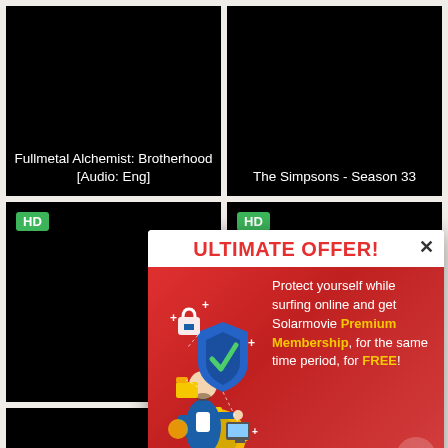[Figure (screenshot): Black thumbnail for Fullmetal Alchemist Brotherhood with white text label]
Fullmetal Alchemist: Brotherhood [Audio: Eng]
[Figure (screenshot): Black thumbnail for The Simpsons Season 33 with white text label]
The Simpsons - Season 33
[Figure (screenshot): Black thumbnail with HD badge]
[Figure (screenshot): Black thumbnail with HD badge]
[Figure (infographic): Popup ad: ULTIMATE OFFER! Protect yourself while surfing online and get Solarmovie Premium Membership for the same time period for FREE!]
[Figure (screenshot): Bottom row partial thumbnails]